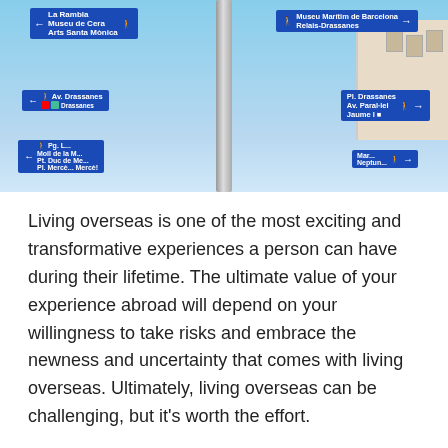[Figure (photo): A cluster of blue directional street signs in Barcelona showing destinations such as La Rambla, Museu de Cera, Arts Santa Monica, Av. Drassanes, Drassanes, Pg. Moll de la Fusta, Pt. Duc de Medinaceli, P. Merce, Museu Maritim de Barcelona, Relais-Drassanes, Pl. Drassanes, Av. Paral·lel, Jaume I, and more, mounted on a metal pole against a blue sky.]
Living overseas is one of the most exciting and transformative experiences a person can have during their lifetime. The ultimate value of your experience abroad will depend on your willingness to take risks and embrace the newness and uncertainty that comes with living overseas. Ultimately, living overseas can be challenging, but it's worth the effort.
What Are The Advantages Of Living Abroad?